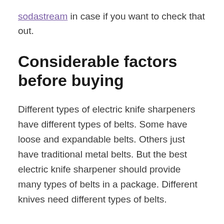sodastream in case if you want to check that out.
Considerable factors before buying
Different types of electric knife sharpeners have different types of belts. Some have loose and expandable belts. Others just have traditional metal belts. But the best electric knife sharpener should provide many types of belts in a package. Different knives need different types of belts.
Loose and expandable belts are the best among all others. They can sharpen the